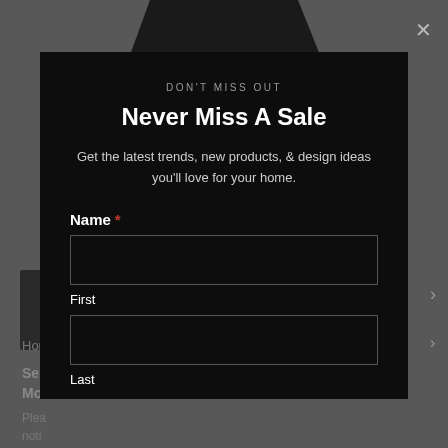[Figure (screenshot): Website background showing dimmed e-commerce page with partial product images and navigation text]
DON'T MISS OUT
Never Miss A Sale
Get the latest trends, new products, & design ideas you'll love for your home.
Name *
First
Last